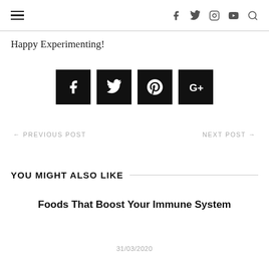≡  f  🐦  📷  ▶  🔍
Happy Experimenting!
[Figure (infographic): Four black social media icon buttons: Facebook (f), Twitter (bird), Pinterest (p circle), Google+ (G+)]
← PREVIOUS POST    NEXT POST →
YOU MIGHT ALSO LIKE
Foods That Boost Your Immune System
31/03/2020